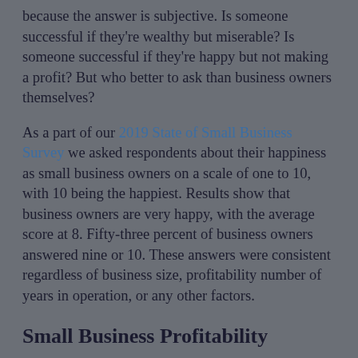because the answer is subjective. Is someone successful if they're wealthy but miserable? Is someone successful if they're happy but not making a profit? But who better to ask than business owners themselves?
As a part of our 2019 State of Small Business Survey we asked respondents about their happiness as small business owners on a scale of one to 10, with 10 being the happiest. Results show that business owners are very happy, with the average score at 8. Fifty-three percent of business owners answered nine or 10. These answers were consistent regardless of business size, profitability number of years in operation, or any other factors.
Small Business Profitability
One of the most important factors to measure a business's success is profitability. Profitability for businesses in operation for up to three years was significantly lower than older businesses. Businesses in operation for at least eight years...